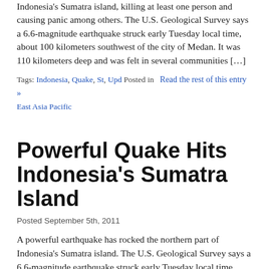Indonesia's Sumatra island, killing at least one person and causing panic among others. The U.S. Geological Survey says a 6.6-magnitude earthquake struck early Tuesday local time, about 100 kilometers southwest of the city of Medan. It was 110 kilometers deep and was felt in several communities […]
Tags: Indonesia, Quake, St, Upd Posted in  Read the rest of this entry » East Asia Pacific
Powerful Quake Hits Indonesia's Sumatra Island
Posted September 5th, 2011
A powerful earthquake has rocked the northern part of Indonesia's Sumatra island. The U.S. Geological Survey says a 6.6-magnitude earthquake struck early Tuesday local time, about 100 kilometers southwest of the city of Medan. It was 110 kilometers deep. No tsunami warning was issued and there